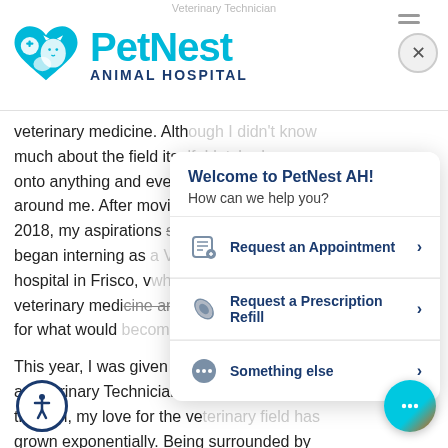Veterinary Technician
[Figure (logo): PetNest Animal Hospital logo with teal heart and animal silhouette icon on the left, and the text 'PetNest' in large teal font with 'ANIMAL HOSPITAL' in dark blue below]
veterinary medicine. Although I didn't know much about the field itself, I latched onto anything and everything that happened around me. After moving to Texas in 2018, my aspirations started becoming a reality. I began interning as a Veterinary Technician at a hospital in Frisco, which solidified my love for veterinary medicine and created the foundation for what would
[Figure (screenshot): Chat popup widget showing 'Welcome to PetNest AH!' and 'How can we help you?' with three options: 'Request an Appointment >', 'Request a Prescription Refill >', and 'Something else >']
This year, I was given the opportunity to become a Veterinary Technician at PetNest AH. From then on, my love for the veterinary field has grown exponentially. Being surrounded by coworkers who teach and encourage me daily has become a driving force toward my goals, and for that, I am forever grateful.